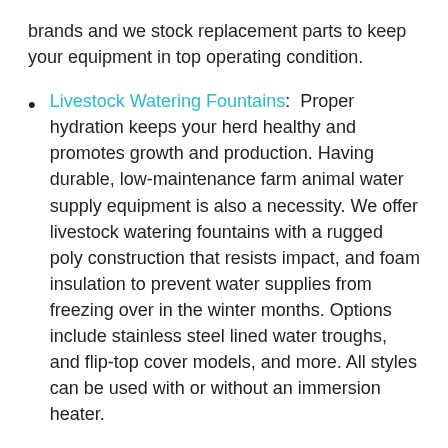brands and we stock replacement parts to keep your equipment in top operating condition.
Livestock Watering Fountains: Proper hydration keeps your herd healthy and promotes growth and production. Having durable, low-maintenance farm animal water supply equipment is also a necessity. We offer livestock watering fountains with a rugged poly construction that resists impact, and foam insulation to prevent water supplies from freezing over in the winter months. Options include stainless steel lined water troughs, and flip-top cover models, and more. All styles can be used with or without an immersion heater.
Replacement Watering Fountain Parts: We offer immersion heaters and replacement parts for all the livestock watering fountains in our inventory. Keep a few sets of replacement parts on your farm for easy...